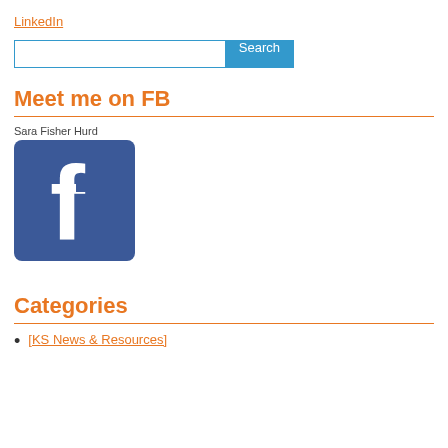LinkedIn
[Figure (screenshot): Search bar with text input field and blue Search button]
Meet me on FB
Sara Fisher Hurd
[Figure (logo): Facebook logo — blue square with white lowercase f]
Categories
[KS News & Resources]